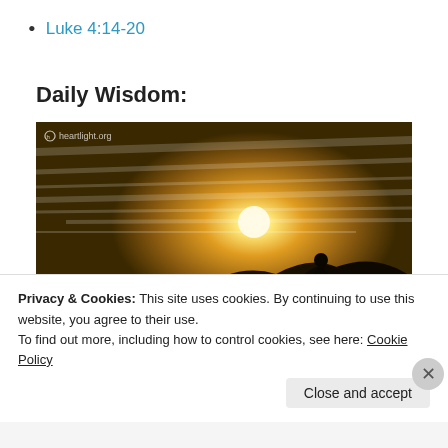Luke 4:14-20
Daily Wisdom:
[Figure (photo): Silhouette of one person helping another climb a rocky hill at sunset, with a bright sun behind them. Watermark: heartlight.org. Overlaid text: 'My brothers, if one of you should wander from the truth and someone should bring him back, remember this: Whoever turns a sinner from the error of']
Privacy & Cookies: This site uses cookies. By continuing to use this website, you agree to their use.
To find out more, including how to control cookies, see here: Cookie Policy
Close and accept